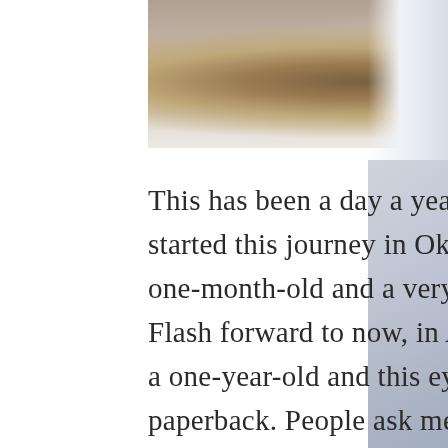[Figure (photo): Blurred photograph showing indistinct objects (possibly cups or stones) on a light surface, with a sky/ocean scene visible on the right side]
This has been a day a year in the making. I started this journey in Okianwa, Japan with a one-month-old and a very basic workbook. Flash forward to now, in Alexandria, VA with a one-year-old and this eye catching paperback. People ask me about the timing often. From the outside looking in, I sounded like a crazy person. "Sure I can write this book as a first time mom planning my international move and job hunting. No problem." I was that duck on life's pond. Grace and beauty on top of the water, fierce paddling against the current beneath the surface. Not a day passed that I didn't